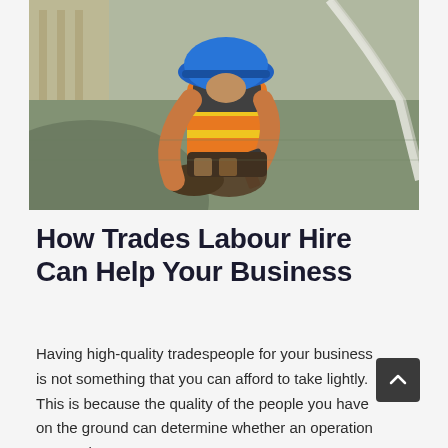[Figure (photo): Construction worker wearing orange high-visibility vest and blue hard hat, kneeling on a rooftop or concrete surface and hammering with a tool. White rope visible in the background.]
How Trades Labour Hire Can Help Your Business
Having high-quality tradespeople for your business is not something that you can afford to take lightly. This is because the quality of the people you have on the ground can determine whether an operation succeeds or